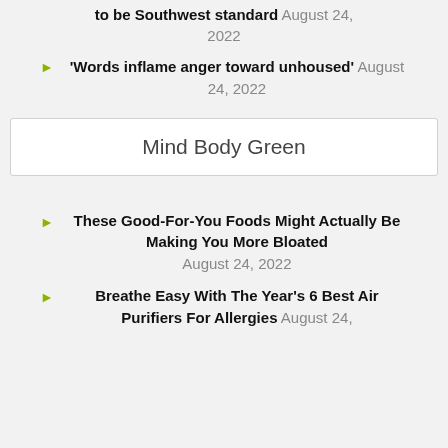to be Southwest standard August 24, 2022
'Words inflame anger toward unhoused' August 24, 2022
Mind Body Green
These Good-For-You Foods Might Actually Be Making You More Bloated August 24, 2022
Breathe Easy With The Year's 6 Best Air Purifiers For Allergies August 24,